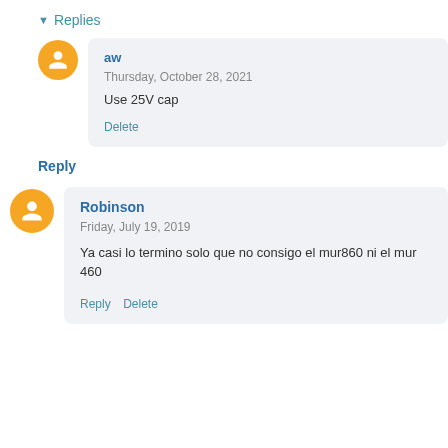▾ Replies
aw
Thursday, October 28, 2021
Use 25V cap
Delete
Reply
Robinson
Friday, July 19, 2019
Ya casi lo termino solo que no consigo el mur860 ni el mur 460
Reply  Delete